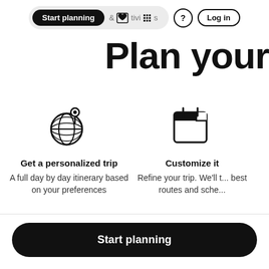Start planning  & Activities  ?  Log in
Plan you
[Figure (illustration): Globe with a location pin icon (world map with latitude/longitude lines)]
Get a personalized trip
A full day by day itinerary based on your preferences
[Figure (illustration): Calendar icon with a folded corner]
Customize it
Refine your trip. We'll t... best routes and sche...
Start planning